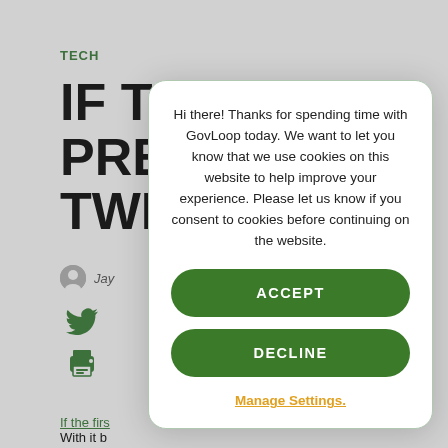TECH
IF TH PRES TWE
Jay
If the firs
originally
With it b
myself thinking about famous Presidential
Hi there! Thanks for spending time with GovLoop today. We want to let you know that we use cookies on this website to help improve your experience. Please let us know if you consent to cookies before continuing on the website.
ACCEPT
DECLINE
Manage Settings.